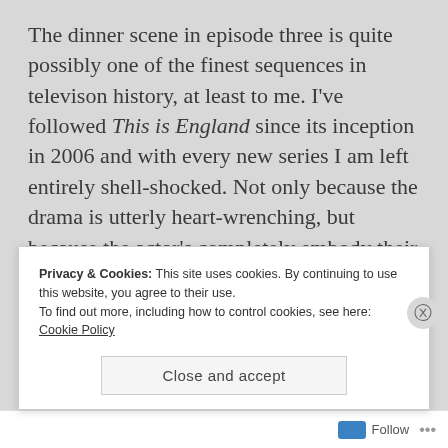The dinner scene in episode three is quite possibly one of the finest sequences in televison history, at least to me. I've followed This is England since its inception in 2006 and with every new series I am left entirely shell-shocked. Not only because the drama is utterly heart-wrenching, but because the actor's completely embody their characters. I don't see Joe Gilgun and Vicky McClure, I see Woody and Lol. Never in anything have I been so invested in and utterly enamored
Privacy & Cookies: This site uses cookies. By continuing to use this website, you agree to their use.
To find out more, including how to control cookies, see here: Cookie Policy
Close and accept